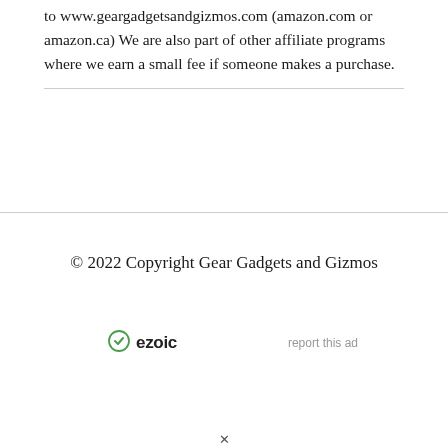to www.geargadgetsandgizmos.com (amazon.com or amazon.ca) We are also part of other affiliate programs where we earn a small fee if someone makes a purchase.
© 2022 Copyright Gear Gadgets and Gizmos
ezoic   report this ad